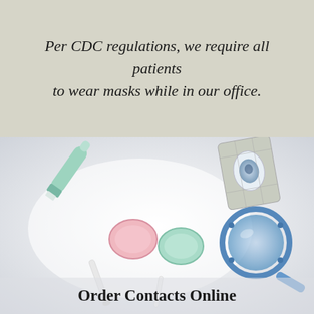Per CDC regulations, we require all patients to wear masks while in our office.
[Figure (photo): Flat lay photo of contact lens accessories on a white background: a tube of solution, a blister pack with a contact lens, blue-framed trial glasses/optical tool, a contact lens case with pink and green caps, and a contact lens applicator stick.]
Order Contacts Online